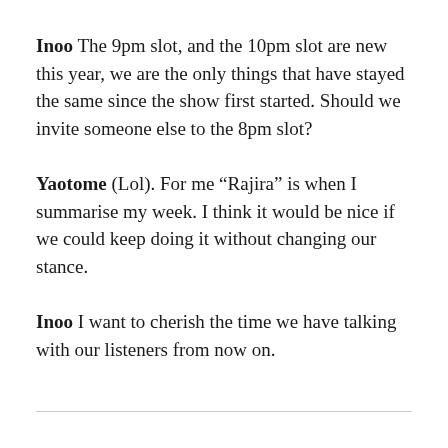Inoo The 9pm slot, and the 10pm slot are new this year, we are the only things that have stayed the same since the show first started. Should we invite someone else to the 8pm slot?
Yaotome (Lol). For me “Rajira” is when I summarise my week. I think it would be nice if we could keep doing it without changing our stance.
Inoo I want to cherish the time we have talking with our listeners from now on.